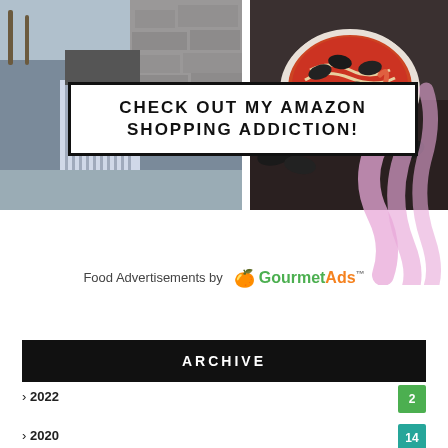[Figure (photo): Top collage: left side shows a person in striped pants holding a bag near a stone wall with palm trees, right side shows a bowl of seafood soup/pasta on a dark table.]
CHECK OUT MY AMAZON SHOPPING ADDICTION!
[Figure (illustration): Pink brush stroke decorative elements on the right side of the collage area.]
Food Advertisements by GourmetAds™
ARCHIVE
› 2022
› 2020